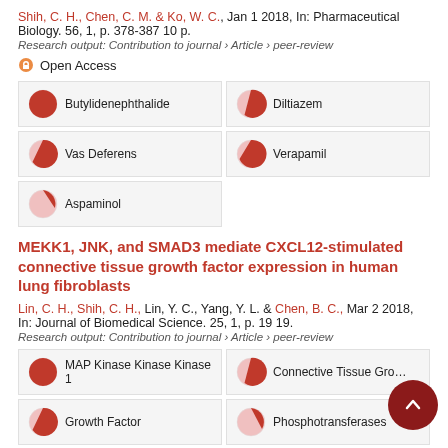Shih, C. H., Chen, C. M. & Ko, W. C., Jan 1 2018, In: Pharmaceutical Biology. 56, 1, p. 378-387 10 p.
Research output: Contribution to journal › Article › peer-review
Open Access
[Figure (infographic): Fingerprint keyword boxes: Butylidenephthalide (100%), Diltiazem (~75%), Vas Deferens (~70%), Verapamil (~60%), Aspaminol (~30%)]
MEKK1, JNK, and SMAD3 mediate CXCL12-stimulated connective tissue growth factor expression in human lung fibroblasts
Lin, C. H., Shih, C. H., Lin, Y. C., Yang, Y. L. & Chen, B. C., Mar 2 2018, In: Journal of Biomedical Science. 25, 1, p. 19 19.
Research output: Contribution to journal › Article › peer-review
[Figure (infographic): Fingerprint keyword boxes: MAP Kinase Kinase Kinase 1 (100%), Connective Tissue Growth Factor (~75%), Growth Factor (~70%), Phosphotransferases (~55%), Fibroblasts (partially visible)]